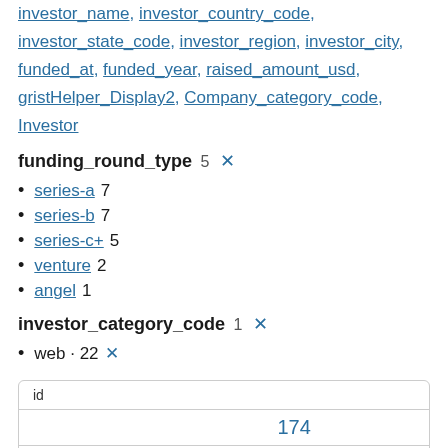investor_name, investor_country_code, investor_state_code, investor_region, investor_city, funded_at, funded_year, raised_amount_usd, gristHelper_Display2, Company_category_code, Investor
funding_round_type 5 ×
series-a 7
series-b 7
series-c+ 5
venture 2
angel 1
investor_category_code 1 ×
web · 22 ×
| Field | Value |
| --- | --- |
| id | 174 |
| manualSort | 174 |
| Company |  |